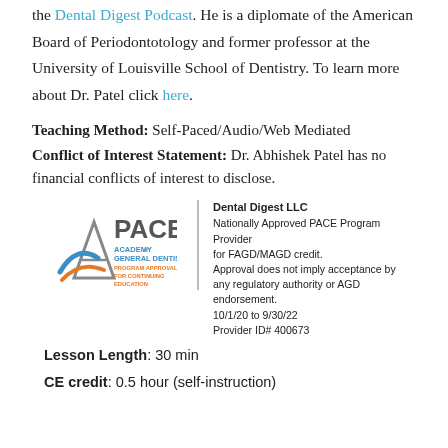the Dental Digest Podcast. He is a diplomate of the American Board of Periodontotology and former professor at the University of Louisville School of Dentistry. To learn more about Dr. Patel click here.
Teaching Method: Self-Paced/Audio/Web Mediated
Conflict of Interest Statement: Dr. Abhishek Patel has no financial conflicts of interest to disclose.
[Figure (logo): AGD PACE Academy of General Dentistry Program Approval for Continuing Education logo]
Dental Digest LLC
Nationally Approved PACE Program Provider for FAGD/MAGD credit.
Approval does not imply acceptance by any regulatory authority or AGD endorsement.
10/1/20 to 9/30/22
Provider ID# 400673
Lesson Length: 30 min
CE credit: 0.5 hour (self-instruction)